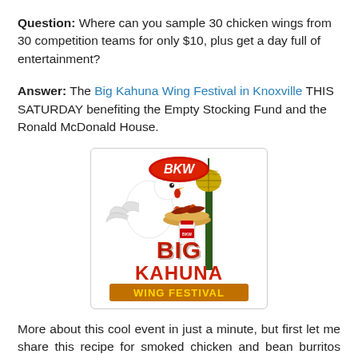Question: Where can you sample 30 chicken wings from 30 competition teams for only $10, plus get a day full of entertainment?
Answer: The Big Kahuna Wing Festival in Knoxville THIS SATURDAY benefiting the Empty Stocking Fund and the Ronald McDonald House.
[Figure (logo): Big Kahuna Wing Festival logo featuring a rooster, wings on a plate, a spice jar, Knoxville Space Needle, and the text BKW Big Kahuna Wing Festival]
More about this cool event in just a minute, but first let me share this recipe for smoked chicken and bean burritos that